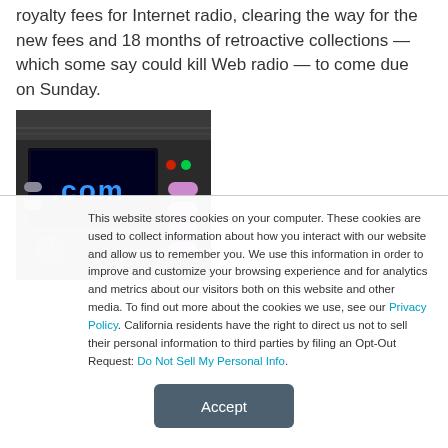royalty fees for Internet radio, clearing the way for the new fees and 18 months of retroactive collections — which some say could kill Web radio — to come due on Sunday.
[Figure (photo): Close-up photo of an Internet radio device with '.com' displayed on a blue LED screen, pink/purple buttons, and dark chassis.]
This website stores cookies on your computer. These cookies are used to collect information about how you interact with our website and allow us to remember you. We use this information in order to improve and customize your browsing experience and for analytics and metrics about our visitors both on this website and other media. To find out more about the cookies we use, see our Privacy Policy. California residents have the right to direct us not to sell their personal information to third parties by filing an Opt-Out Request: Do Not Sell My Personal Info.